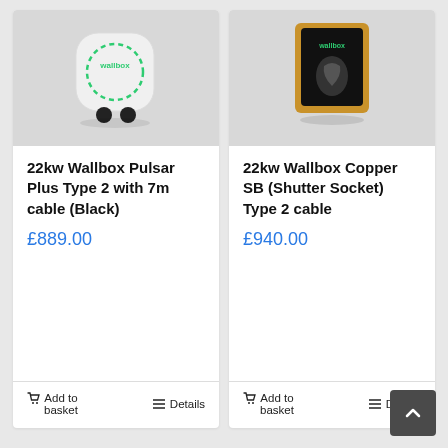[Figure (photo): White Wallbox Pulsar Plus EV charger product image on grey background]
22kw Wallbox Pulsar Plus Type 2 with 7m cable (Black)
£889.00
Add to basket
Details
[Figure (photo): Gold/black Wallbox Copper SB EV charger product image on grey background]
22kw Wallbox Copper SB (Shutter Socket) Type 2 cable
£940.00
Add to basket
Details